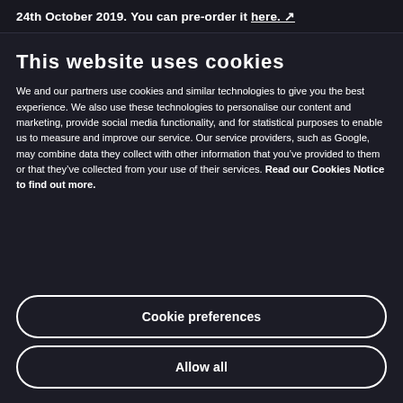24th October 2019. You can pre-order it here. [icon]
This website uses cookies
We and our partners use cookies and similar technologies to give you the best experience. We also use these technologies to personalise our content and marketing, provide social media functionality, and for statistical purposes to enable us to measure and improve our service. Our service providers, such as Google, may combine data they collect with other information that you've provided to them or that they've collected from your use of their services. Read our Cookies Notice to find out more.
Cookie preferences
Allow all